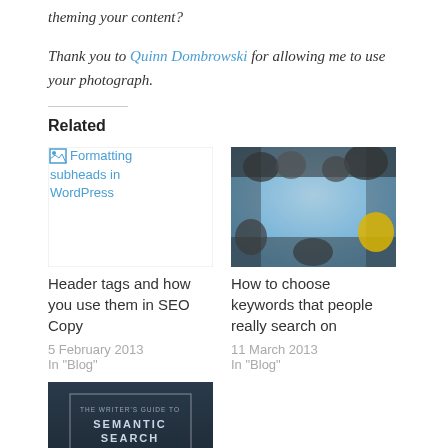theming your content?
Thank you to Quinn Dombrowski for allowing me to use your photograph.
Related
[Figure (other): Broken image icon link: Formatting subheads in WordPress]
Header tags and how you use them in SEO Copy
5 February 2013
In "Blog"
[Figure (photo): Photo of people viewed from below in a circular arrangement against a blue sky]
How to choose keywords that people really search on
11 March 2013
In "Blog"
[Figure (photo): Dark book cover image with text 'THE WRITER'S GUIDE TO SEMANTIC SEARCH' and a rock/stone image at bottom]